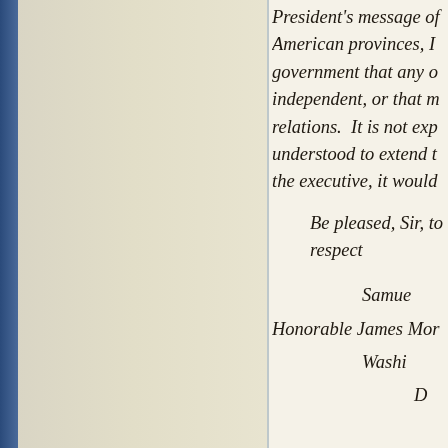President's message of American provinces, I government that any o independent, or that m relations.  It is not exp understood to extend t the executive, it would
Be pleased, Sir, to a respect
Samue
Honorable James Mor
Washi
D